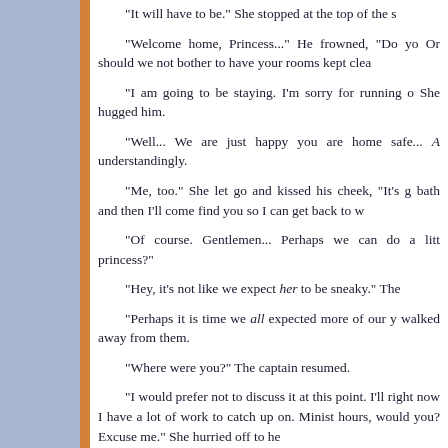“It will have to be.” She stopped at the top of the s
“Welcome home, Princess...” He frowned, “Do yo Or should we not bother to have your rooms kept clea
“I am going to be staying. I’m sorry for running o She hugged him.
“Well... We are just happy you are home safe... A understandingly.
“Me, too.” She let go and kissed his cheek, “It’s g bath and then I’ll come find you so I can get back to w
“Of course. Gentlemen... Perhaps we can do a litt princess?”
“Hey, it’s not like we expect her to be sneaky.” The
“Perhaps it is time we all expected more of our y walked away from them.
“Where were you?” The captain resumed.
“I would prefer not to discuss it at this point. I’ll right now I have a lot of work to catch up on. Minist hours, would you? Excuse me.” She hurried off to he